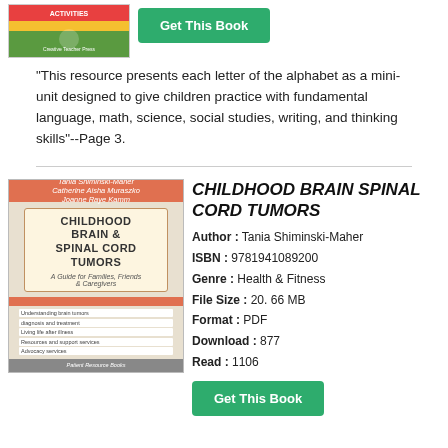[Figure (photo): Book cover of an alphabet/early childhood resource with colorful design]
Get This Book
"This resource presents each letter of the alphabet as a mini-unit designed to give children practice with fundamental language, math, science, social studies, writing, and thinking skills"--Page 3.
[Figure (photo): Book cover of Childhood Brain & Spinal Cord Tumors: A Guide for Families, Friends & Caregivers by Tania Shiminski-Maher]
CHILDHOOD BRAIN SPINAL CORD TUMORS
Author : Tania Shiminski-Maher
ISBN : 9781941089200
Genre : Health & Fitness
File Size : 20. 66 MB
Format : PDF
Download : 877
Read : 1106
Get This Book